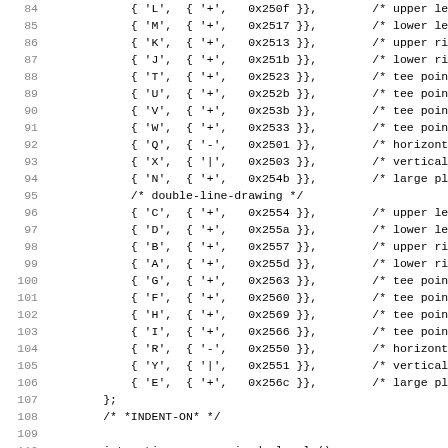[Figure (screenshot): Source code listing in monospace font, showing C code with line numbers 84-115. Contains array initializers with character mappings to Unicode code points for single-line and double-line drawing characters, followed by variable declaration and a comment block.]